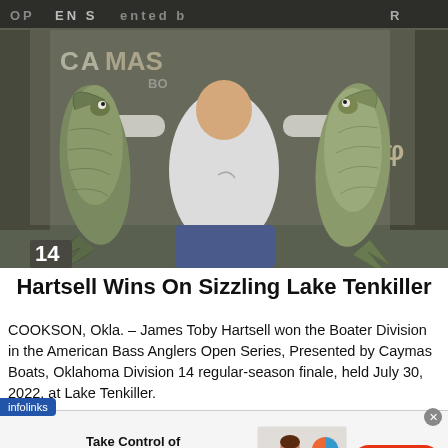[Figure (photo): Man holding up two large bass fish in front of a Caymas Boats branded backdrop, with a number 14 sign in the bottom left corner of the image.]
Hartsell Wins On Sizzling Lake Tenkiller
COOKSON, Okla. – James Toby Hartsell won the Boater Division in the American Bass Anglers Open Series, Presented by Caymas Boats, Oklahoma Division 14 regular-season finale, held July 30, 2022, at Lake Tenkiller.
[Figure (infographic): Quicken advertisement: Take Control of Your Finances. Plan for today and tomorrow with one solution to manage all your finances. BUY NOW button.]